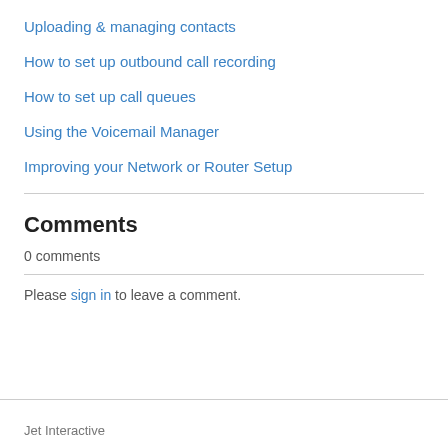Uploading & managing contacts
How to set up outbound call recording
How to set up call queues
Using the Voicemail Manager
Improving your Network or Router Setup
Comments
0 comments
Please sign in to leave a comment.
Jet Interactive